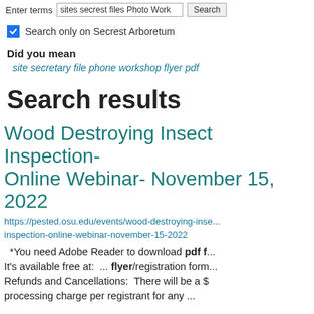Enter terms  sites secrest files Photo Work  Search
Search only on Secrest Arboretum
Did you mean
site secretary file phone workshop flyer pdf
Search results
Wood Destroying Insect Inspection- Online Webinar- November 15, 2022
https://pested.osu.edu/events/wood-destroying-insect-inspection-online-webinar-november-15-2022
*You need Adobe Reader to download pdf f... It's available free at:  ... flyer/registration form... Refunds and Cancellations:  There will be a $ processing charge per registrant for any ...